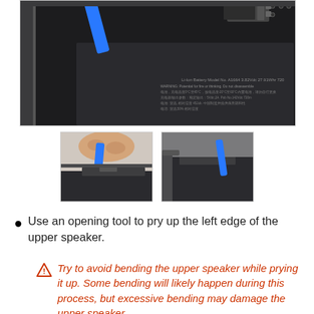[Figure (photo): Close-up photo of iPad internals showing a blue spudger prying tool being used on the left edge of the upper speaker area. The battery with Chinese warning text is visible in the background.]
[Figure (photo): Thumbnail photo showing a blue spudger prying up the left edge of the upper speaker from close range.]
[Figure (photo): Thumbnail photo showing the blue spudger tool positioned at the corner of the upper speaker from a slightly different angle.]
Use an opening tool to pry up the left edge of the upper speaker.
Try to avoid bending the upper speaker while prying it up. Some bending will likely happen during this process, but excessive bending may damage the upper speaker.